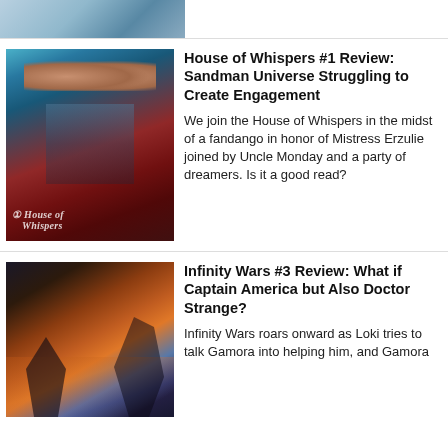[Figure (photo): Partial top image cropped at top of page]
House of Whispers #1 Review: Sandman Universe Struggling to Create Engagement
We join the House of Whispers in the midst of a fandango in honor of Mistress Erzulie joined by Uncle Monday and a party of dreamers. Is it a good read?
Infinity Wars #3 Review: What if Captain America but Also Doctor Strange?
Infinity Wars roars onward as Loki tries to talk Gamora into helping him, and Gamora